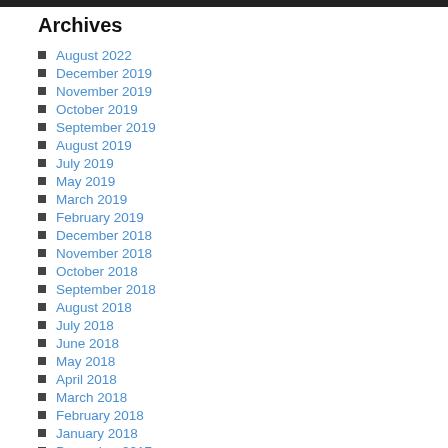Archives
August 2022
December 2019
November 2019
October 2019
September 2019
August 2019
July 2019
May 2019
March 2019
February 2019
December 2018
November 2018
October 2018
September 2018
August 2018
July 2018
June 2018
May 2018
April 2018
March 2018
February 2018
January 2018
December 2017